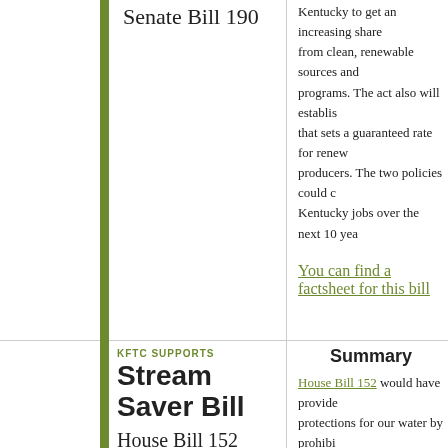Senate Bill 190
Kentucky to get an increasing share from clean, renewable sources and programs. The act also will establish that sets a guaranteed rate for renewable producers. The two policies could create Kentucky jobs over the next 10 years.
You can find a factsheet for this bill
KFTC SUPPORTS
Stream Saver Bill
House Bill 152
Summary
House Bill 152 would have provided protections for our water by prohibiting toxic mine wastes, most commonly from mountaintop removal, into "an intermittent, ephemeral stream or other water of...
These are mostly headwater streams... the quality of waterways upstream and... Mine wastes could be placed back on the adjacent mine site as part of the reclamation already specified in state and federal law, dumped over the side of the hill into streams below.
Read ahead about HB 152...